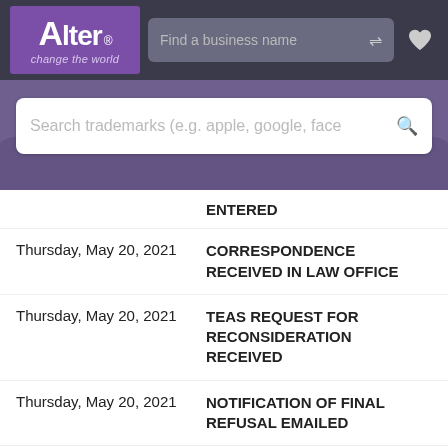[Figure (logo): Alter 'change the world' logo in purple box]
Search trademarks (e.g. apple, google, face
ENTERED
| Date | Status |
| --- | --- |
| Thursday, May 20, 2021 | CORRESPONDENCE RECEIVED IN LAW OFFICE |
| Thursday, May 20, 2021 | TEAS REQUEST FOR RECONSIDERATION RECEIVED |
| Thursday, May 20, 2021 | NOTIFICATION OF FINAL REFUSAL EMAILED |
| Thursday, May 20, 2021 | FINAL REFUSAL E-MAILED |